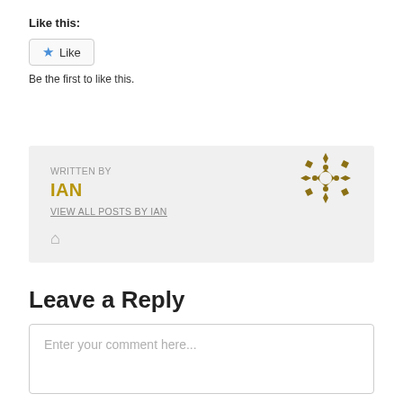Like this:
[Figure (other): Like button widget with blue star icon and 'Like' text inside a rounded rectangle border]
Be the first to like this.
WRITTEN BY
IAN
VIEW ALL POSTS BY IAN
[Figure (illustration): Geometric/mosaic avatar icon in dark yellow/olive color, circular shape with diamond and arrow patterns]
Leave a Reply
Enter your comment here...